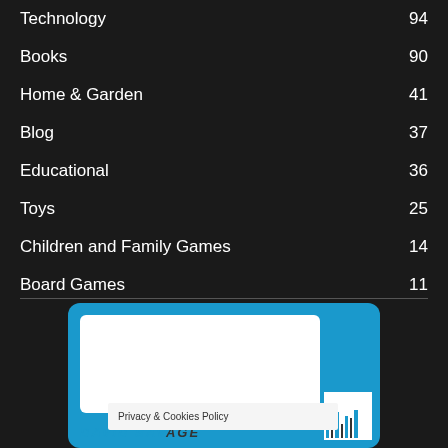Technology  94
Books  90
Home & Garden  41
Blog  37
Educational  36
Toys  25
Children and Family Games  14
Board Games  11
[Figure (screenshot): Book or product cover with cyan/blue border and 'DAVID SAVAGE' text, with a barcode element on the right side.]
Privacy & Cookies Policy